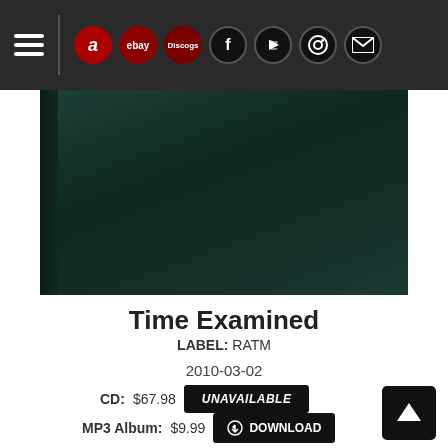[Figure (screenshot): Dark navigation bar with hamburger menu, Amazon, eBay, Discogs, Facebook, YouTube, Instagram, and mail icons]
[Figure (photo): Dark teal/green album cover with textured surface and slight spine visible on the left]
Time Examined
LABEL: RATM
2010-03-02
CD: $67.98 UNAVAILABLE
MP3 Album: $9.99 DOWNLOAD